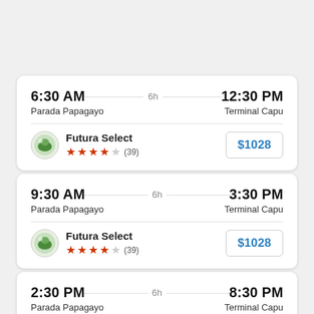6:30 AM — 6h — 12:30 PM | Parada Papagayo — Terminal Capu | Futura Select ★★★★☆ (39) | $1028
9:30 AM — 6h — 3:30 PM | Parada Papagayo — Terminal Capu | Futura Select ★★★★☆ (39) | $1028
2:30 PM — 6h — 8:30 PM | Parada Papagayo — Terminal Capu